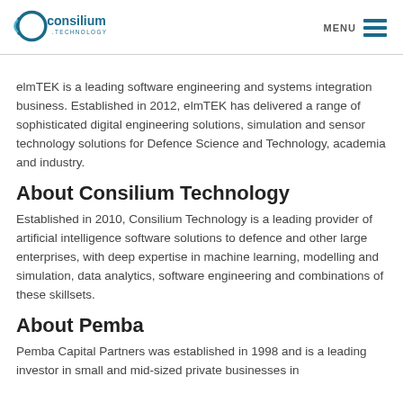Consilium Technology — MENU
elmTEK is a leading software engineering and systems integration business. Established in 2012, elmTEK has delivered a range of sophisticated digital engineering solutions, simulation and sensor technology solutions for Defence Science and Technology, academia and industry.
About Consilium Technology
Established in 2010, Consilium Technology is a leading provider of artificial intelligence software solutions to defence and other large enterprises, with deep expertise in machine learning, modelling and simulation, data analytics, software engineering and combinations of these skillsets.
About Pemba
Pemba Capital Partners was established in 1998 and is a leading investor in small and mid-sized private businesses in